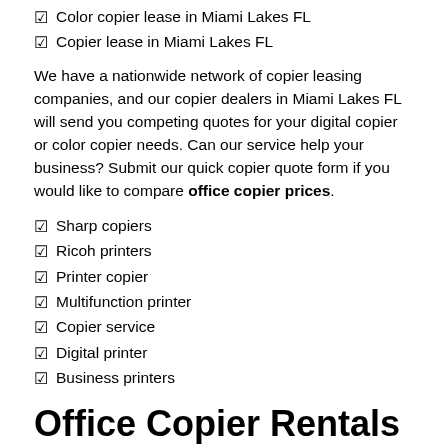Color copier lease in Miami Lakes FL
Copier lease in Miami Lakes FL
We have a nationwide network of copier leasing companies, and our copier dealers in Miami Lakes FL will send you competing quotes for your digital copier or color copier needs. Can our service help your business? Submit our quick copier quote form if you would like to compare office copier prices.
Sharp copiers
Ricoh printers
Printer copier
Multifunction printer
Copier service
Digital printer
Business printers
Office Copier Rentals Miami Lakes FL